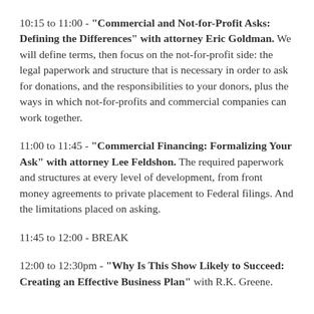10:15 to 11:00 - "Commercial and Not-for-Profit Asks: Defining the Differences" with attorney Eric Goldman. We will define terms, then focus on the not-for-profit side: the legal paperwork and structure that is necessary in order to ask for donations, and the responsibilities to your donors, plus the ways in which not-for-profits and commercial companies can work together.
11:00 to 11:45 - "Commercial Financing: Formalizing Your Ask" with attorney Lee Feldshon. The required paperwork and structures at every level of development, from front money agreements to private placement to Federal filings. And the limitations placed on asking.
11:45 to 12:00 - BREAK
12:00 to 12:30pm - "Why Is This Show Likely to Succeed: Creating an Effective Business Plan" with R.K. Greene.